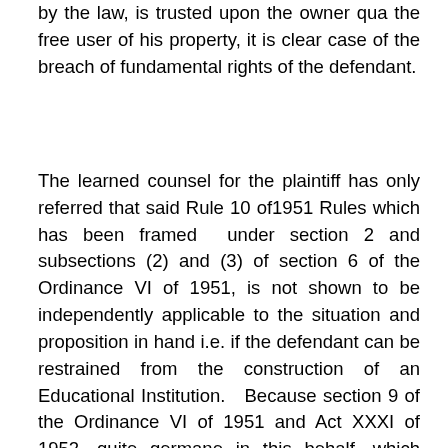by the law, is trusted upon the owner qua the free user of his property, it is clear case of the breach of fundamental rights of the defendant.
The learned counsel for the plaintiff has only referred that said Rule 10 of1951 Rules which has been framed under section 2 and subsections (2) and (3) of section 6 of the Ordinance VI of 1951, is not shown to be independently applicable to the situation and proposition in hand i.e. if the defendant can be restrained from the construction of an Educational Institution.  Because section 9 of the Ordinance VI of 1951 and Act XXXI of 1952, quite germane in this behalf, which enunciates that the Central Government can delegate their powers to  the Provincial Government, which has already been delegated as narrated in the earlier part of the order.  But the Provincial Government has not exercised his powers in this behalf